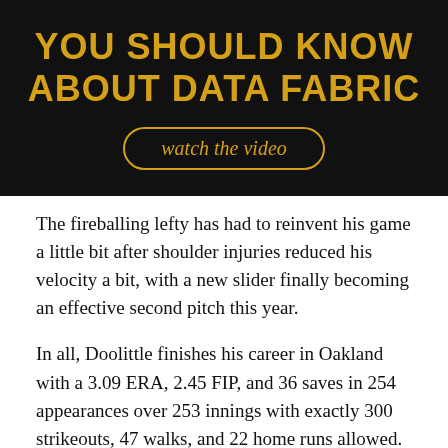[Figure (illustration): Dark banner with yellow bold text reading 'YOU SHOULD KNOW ABOUT DATA FABRIC' and a yellow-outlined pill button with italic text 'watch the video']
The fireballing lefty has had to reinvent his game a little bit after shoulder injuries reduced his velocity a bit, with a new slider finally becoming an effective second pitch this year.
In all, Doolittle finishes his career in Oakland with a 3.09 ERA, 2.45 FIP, and 36 saves in 254 appearances over 253 innings with exactly 300 strikeouts, 47 walks, and 22 home runs allowed.
The 36 year old Ryan Madson was on his second deal...